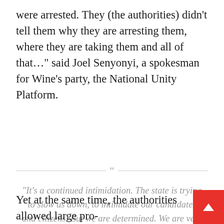were arrested. They (the authorities) didn't tell them why they are arresting them, where they are taking them and all of that…" said Joel Senyonyi, a spokesman for Wine's party, the National Unity Platform.
“It’s a continued intimidation. The state is trying to slow us down, to intimidate our candidates and citizens. But we are determined. We are very strong. We are going all the way. We must remove the dictatorship.”
Yet at the same time, the authorities allowed large pro-